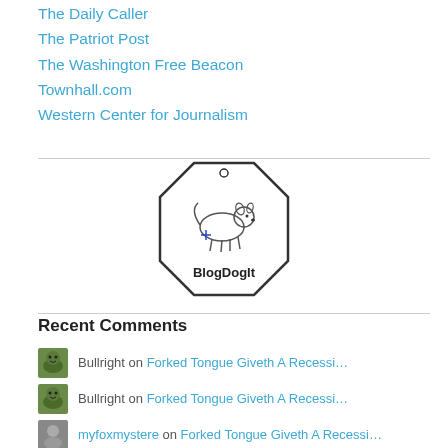The Daily Caller
The Patriot Post
The Washington Free Beacon
Townhall.com
Western Center for Journalism
[Figure (logo): BlogDogIt logo: octagonal badge with small dog/animal illustration and text 'BlogDogIt']
Recent Comments
Bullright on Forked Tongue Giveth A Recessi…
Bullright on Forked Tongue Giveth A Recessi…
myfoxmystere on Forked Tongue Giveth A Recessi…
saintsnotaints on Forked Tongue Giveth A Recessi…